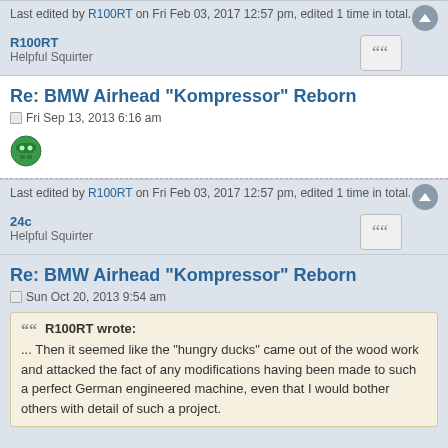Last edited by R100RT on Fri Feb 03, 2017 12:57 pm, edited 1 time in total.
R100RT
Helpful Squirter
Re: BMW Airhead "Kompressor" Reborn
Fri Sep 13, 2013 6:16 am
[Figure (illustration): Green robot/alien avatar icon]
Last edited by R100RT on Fri Feb 03, 2017 12:57 pm, edited 1 time in total.
24c
Helpful Squirter
Re: BMW Airhead "Kompressor" Reborn
Sun Oct 20, 2013 9:54 am
R100RT wrote:
... Then it seemed like the "hungry ducks" came out of the wood work and attacked the fact of any modifications having been made to such a perfect German engineered machine, even that I would bother others with detail of such a project.